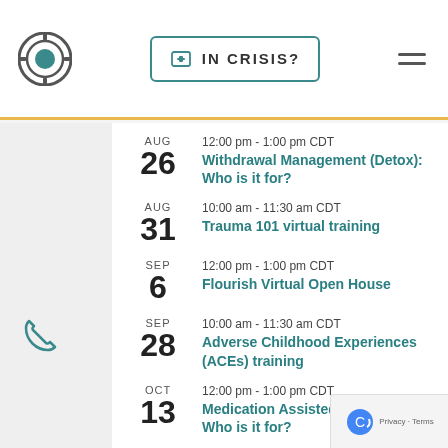IN CRISIS?
AUG 26 | 12:00 pm - 1:00 pm CDT | Withdrawal Management (Detox): Who is it for?
AUG 31 | 10:00 am - 11:30 am CDT | Trauma 101 virtual training
SEP 6 | 12:00 pm - 1:00 pm CDT | Flourish Virtual Open House
SEP 28 | 10:00 am - 11:30 am CDT | Adverse Childhood Experiences (ACEs) training
OCT 13 | 12:00 pm - 1:00 pm CDT | Medication Assisted Treatment: Who is it for?